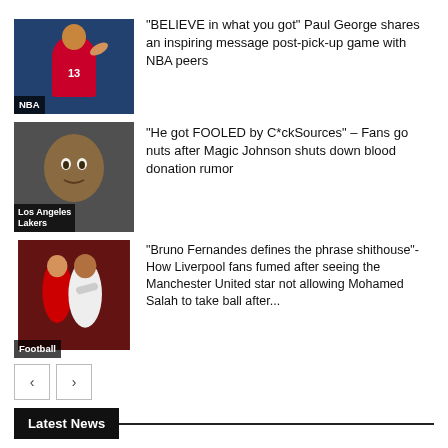[Figure (photo): NBA player Paul George in Clippers #13 jersey, with NBA label overlay]
“BELIEVE in what you got” Paul George shares an inspiring message post-pick-up game with NBA peers
[Figure (photo): Magic Johnson close-up portrait with Los Angeles Lakers label overlay]
“He got FOOLED by C*ckSources” – Fans go nuts after Magic Johnson shuts down blood donation rumor
[Figure (photo): Football players Bruno Fernandes and Mohamed Salah with Football label overlay]
“Bruno Fernandes defines the phrase shithouse”- How Liverpool fans fumed after seeing the Manchester United star not allowing Mohamed Salah to take ball after...
< >
Latest News